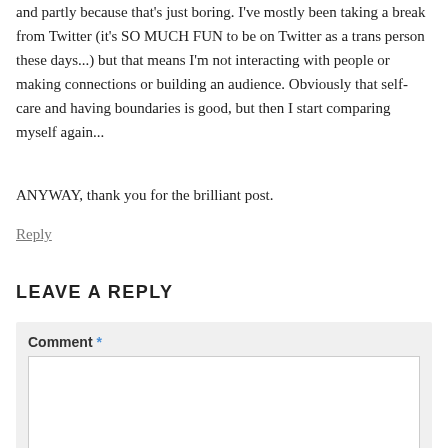and partly because that's just boring. I've mostly been taking a break from Twitter (it's SO MUCH FUN to be on Twitter as a trans person these days...) but that means I'm not interacting with people or making connections or building an audience. Obviously that self-care and having boundaries is good, but then I start comparing myself again...
ANYWAY, thank you for the brilliant post.
Reply
LEAVE A REPLY
Comment *